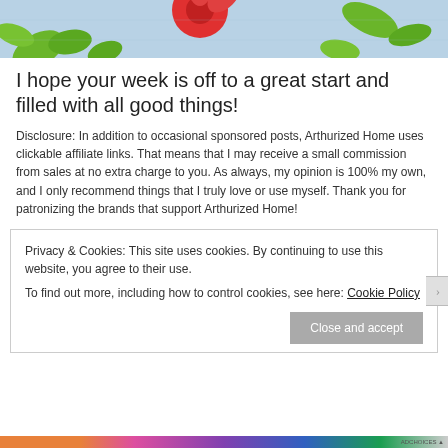[Figure (photo): Close-up of a cross-stitch or embroidered fabric with colorful floral/leaf pattern on light blue background — red and orange flowers, green leaves visible at top of page.]
I hope your week is off to a great start and filled with all good things!
Disclosure: In addition to occasional sponsored posts, Arthurized Home uses clickable affiliate links. That means that I may receive a small commission from sales at no extra charge to you. As always, my opinion is 100% my own, and I only recommend things that I truly love or use myself. Thank you for patronizing the brands that support Arthurized Home!
Privacy & Cookies: This site uses cookies. By continuing to use this website, you agree to their use.
To find out more, including how to control cookies, see here: Cookie Policy
Close and accept